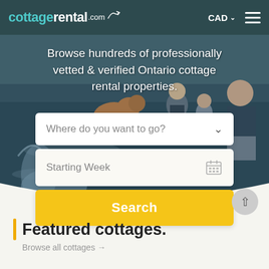cottagerental.com  CAD ☰
[Figure (photo): Hero image showing a family with a golden retriever dog at a lake/waterfront, with water splashing. A man sitting on a boat dock is visible on the right.]
Browse hundreds of professionally vetted & verified Ontario cottage rental properties.
Where do you want to go?
Starting Week
Search
Featured cottages.
Browse all cottages →